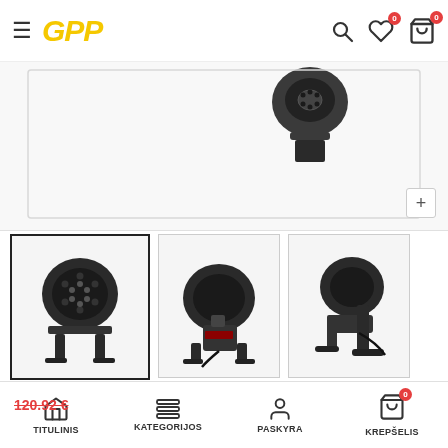GPP store header with hamburger menu, logo, search, wishlist and cart icons
[Figure (photo): Main product image showing a black LED spotlight/par light from above on white background with a + zoom button]
[Figure (photo): Three product thumbnail images: front view of LED par light, rear/bottom view, and side view]
LED prožektorius 64 18x15W RGBWA+UV 6in1 ALU
[Figure (other): 5-star rating shown with star icons]
TITULINIS | KATEGORIJOS | PASKYRA | KREPŠELIS — bottom navigation bar, price: 120.92 €